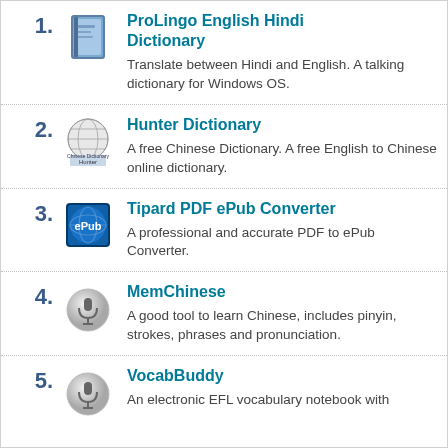1. ProLingo English Hindi Dictionary — Translate between Hindi and English. A talking dictionary for Windows OS.
2. Hunter Dictionary — A free Chinese Dictionary. A free English to Chinese online dictionary.
3. Tipard PDF ePub Converter — A professional and accurate PDF to ePub Converter.
4. MemChinese — A good tool to learn Chinese, includes pinyin, strokes, phrases and pronunciation.
5. VocabBuddy — An electronic EFL vocabulary notebook with